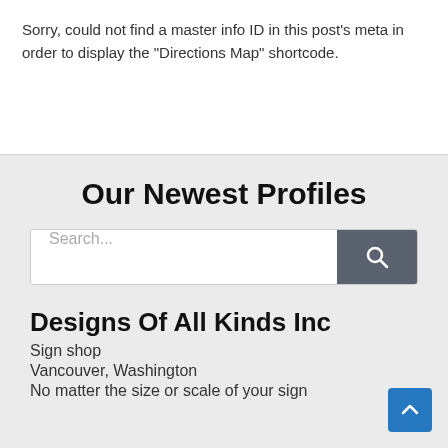Sorry, could not find a master info ID in this post's meta in order to display the "Directions Map" shortcode.
Our Newest Profiles
[Figure (other): Search input bar with placeholder text 'Search...' and a dark grey search button with magnifying glass icon]
Designs Of All Kinds Inc
Sign shop
Vancouver, Washington
No matter the size or scale of your sign